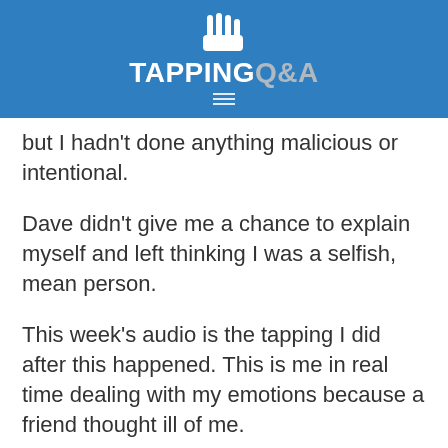TAPPING Q&A
but I hadn't done anything malicious or intentional.
Dave didn't give me a chance to explain myself and left thinking I was a selfish, mean person.
This week's audio is the tapping I did after this happened. This is me in real time dealing with my emotions because a friend thought ill of me.